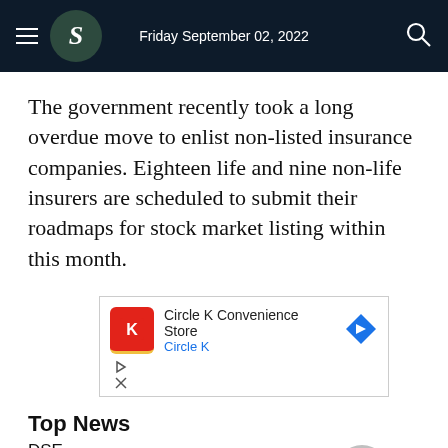Friday September 02, 2022
The government recently took a long overdue move to enlist non-listed insurance companies. Eighteen life and nine non-life insurers are scheduled to submit their roadmaps for stock market listing within this month.
[Figure (other): Circle K Convenience Store advertisement banner]
Top News
DSE